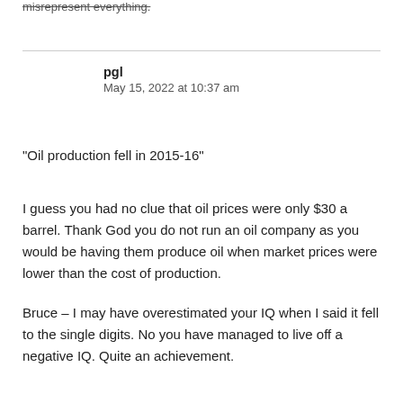misrepresent everything.
pgl
May 15, 2022 at 10:37 am
“Oil production fell in 2015-16”
I guess you had no clue that oil prices were only $30 a barrel. Thank God you do not run an oil company as you would be having them produce oil when market prices were lower than the cost of production.
Bruce – I may have overestimated your IQ when I said it fell to the single digits. No you have managed to live off a negative IQ. Quite an achievement.